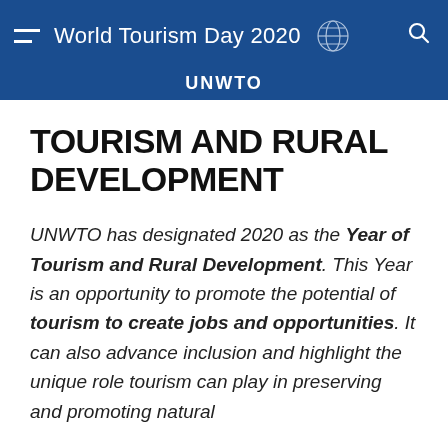World Tourism Day 2020 — UNWTO
TOURISM AND RURAL DEVELOPMENT
UNWTO has designated 2020 as the Year of Tourism and Rural Development. This Year is an opportunity to promote the potential of tourism to create jobs and opportunities. It can also advance inclusion and highlight the unique role tourism can play in preserving and promoting natural